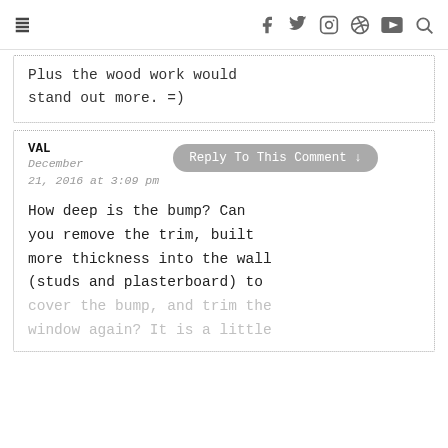≡   f  t  Instagram  Pinterest  YouTube  Search
Plus the wood work would stand out more. =)
VAL
December 21, 2016 at 3:09 pm
Reply To This Comment ↓
How deep is the bump? Can you remove the trim, built more thickness into the wall (studs and plasterboard) to cover the bump, and trim the window again? It is a little